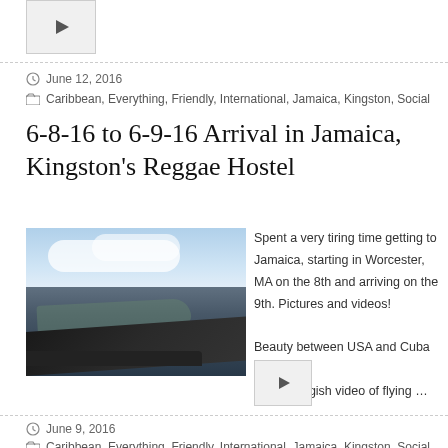[Figure (other): Video thumbnail with play button arrow, top of page]
June 12, 2016
Caribbean, Everything, Friendly, International, Jamaica, Kingston, Social
6-8-16 to 6-9-16 Arrival in Jamaica, Kingston's Reggae Hostel
[Figure (photo): Aerial photo of coastline between USA and Cuba taken from airplane window, showing water, land, and clouds]
Spent a very tiring time getting to Jamaica, starting in Worcester, MA on the 8th and arriving on the 9th. Pictures and videos! Beauty between USA and Cuba First a longish video of flying …
[Figure (other): Video thumbnail with play button arrow]
June 9, 2016
Caribbean, Everything, Friendly, International, Jamaica, Kingston, Social